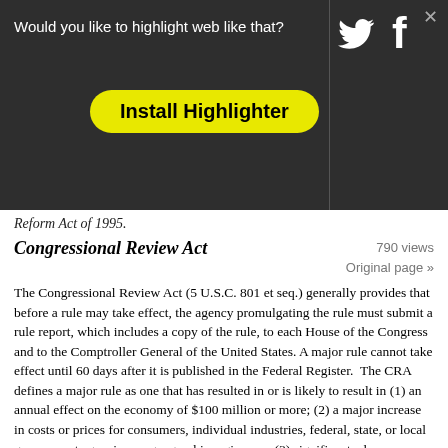[Figure (screenshot): Dark overlay browser banner asking 'Would you like to highlight web like that?' with a yellow 'Install Highlighter' button, Twitter and Facebook icons, and a close X button.]
Reform Act of 1995.
Congressional Review Act
790 views
Original page »
The Congressional Review Act (5 U.S.C. 801 et seq.) generally provides that before a rule may take effect, the agency promulgating the rule must submit a rule report, which includes a copy of the rule, to each House of the Congress and to the Comptroller General of the United States. A major rule cannot take effect until 60 days after it is published in the Federal Register. The CRA defines a major rule as one that has resulted in or is likely to result in (1) an annual effect on the economy of $100 million or more; (2) a major increase in costs or prices for consumers, individual industries, federal, state, or local government agencies, or geographic regions; or (3) significant adverse effects on competition, employment, investment, productivity, or innovation, or on the ability of United States-based enterprises to compete with foreign-based enterprises in domestic and export markets. 5 U.S.C. § 804(2). The EEOC has determined that this rule is not a major rule. The EEOC will submit a copy of